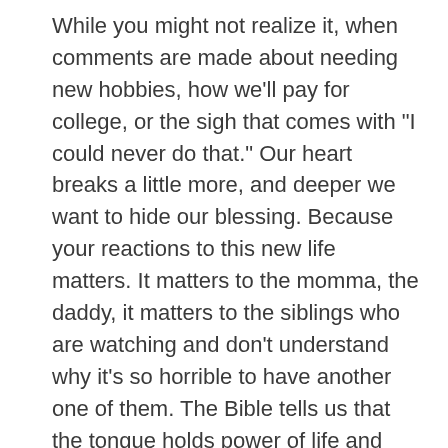While you might not realize it, when comments are made about needing new hobbies, how we'll pay for college, or the sigh that comes with "I could never do that." Our heart breaks a little more, and deeper we want to hide our blessing. Because your reactions to this new life matters. It matters to the momma, the daddy, it matters to the siblings who are watching and don't understand why it's so horrible to have another one of them. The Bible tells us that the tongue holds power of life and death. Just because our large family draws attention, doesn't mean we want, welcome, or receive the words that [triangle] you are speaking over us.